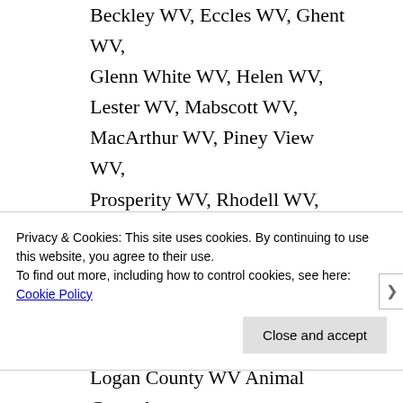Beckley WV, Eccles WV, Ghent WV, Glenn White WV, Helen WV, Lester WV, Mabscott WV, MacArthur WV, Piney View WV, Prosperity WV, Rhodell WV, Shady Springs WV, Sophia WV, Stanaford WV.
Logan County WV Animal Control in Accoville WV, Amherstdale WV,
Privacy & Cookies: This site uses cookies. By continuing to use this website, you agree to their use.
To find out more, including how to control cookies, see here: Cookie Policy